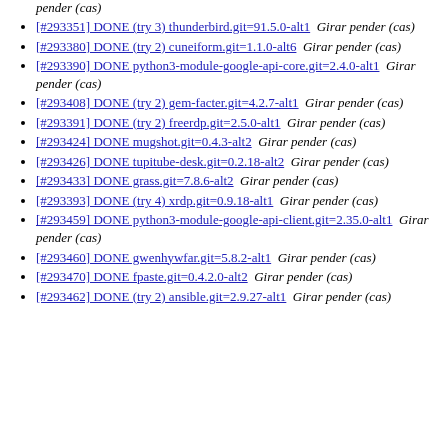pender (cas)
[#293351] DONE (try 3) thunderbird.git=91.5.0-alt1  Girar pender (cas)
[#293380] DONE (try 2) cuneiform.git=1.1.0-alt6  Girar pender (cas)
[#293390] DONE python3-module-google-api-core.git=2.4.0-alt1  Girar pender (cas)
[#293408] DONE (try 2) gem-facter.git=4.2.7-alt1  Girar pender (cas)
[#293391] DONE (try 2) freerdp.git=2.5.0-alt1  Girar pender (cas)
[#293424] DONE mugshot.git=0.4.3-alt2  Girar pender (cas)
[#293426] DONE tupitube-desk.git=0.2.18-alt2  Girar pender (cas)
[#293433] DONE grass.git=7.8.6-alt2  Girar pender (cas)
[#293393] DONE (try 4) xrdp.git=0.9.18-alt1  Girar pender (cas)
[#293459] DONE python3-module-google-api-client.git=2.35.0-alt1  Girar pender (cas)
[#293460] DONE gwenhywfar.git=5.8.2-alt1  Girar pender (cas)
[#293470] DONE fpaste.git=0.4.2.0-alt2  Girar pender (cas)
[#293462] DONE (try 2) ansible.git=2.9.27-alt1  Girar pender (cas)